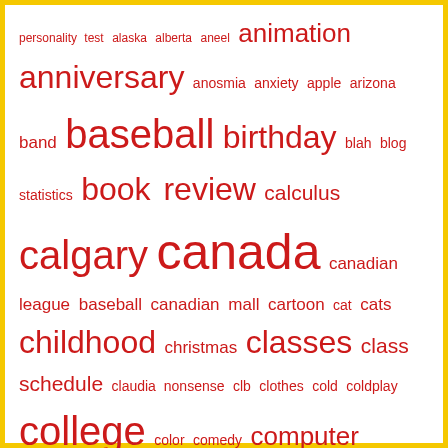[Figure (infographic): A tag cloud with words of varying sizes in red, representing blog post categories. Words include: personality test, alaska, alberta, aneel, animation, anniversary, anosmia, anxiety, apple, arizona, band, baseball, birthday, blah, blog statistics, book review, calculus, calgary, canada, canadian league baseball, canadian mall, cartoon, cat, cats, childhood, christmas, classes, class schedule, claudia nonsense, clb, clothes, cold, coldplay, college, color, comedy, computer game, computers, cooking, coronavirus, covid-19, cruise, dad, data, death, decade of music, disney, dj, earworm, drawing, eigenblogger, english, facebook, fake baseball, favorite songs, finals, flash, friends, frustration, future, goals, go away, google, grades, grad school, graduation, half-life, headphones, high school, hooligan time, idaho, i don't even know, injury, ipod, i suck, itunes]